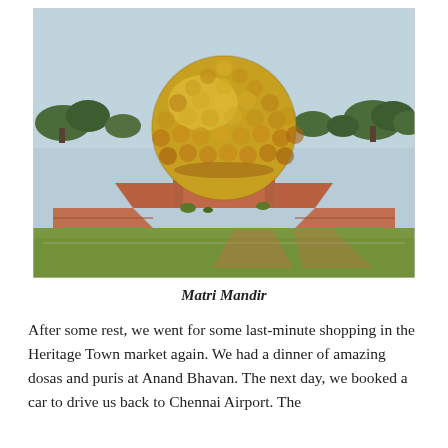[Figure (photo): Photograph of Matri Mandir, a large golden spherical structure covered in golden discs, situated on a red-earth platform surrounded by green grass, with trees visible in the background under a light blue sky.]
Matri Mandir
After some rest, we went for some last-minute shopping in the Heritage Town market again. We had a dinner of amazing dosas and puris at Anand Bhavan. The next day, we booked a car to drive us back to Chennai Airport. The